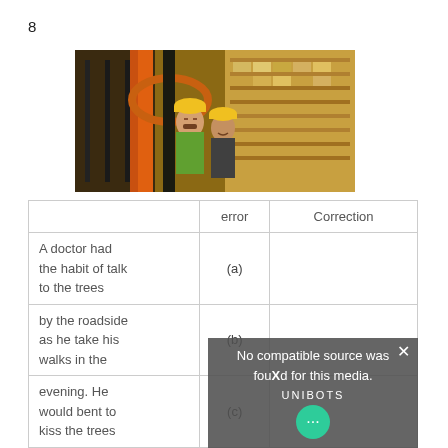8
[Figure (photo): Two workers wearing yellow hard hats in a warehouse with shelving racks and boxes]
|  | error | Correction |
| --- | --- | --- |
| A doctor had the habit of talk to the trees | (a) |  |
| by the roadside as he take his walks in the | (b) |  |
| evening. He would bent to kiss the trees | (c) |  |